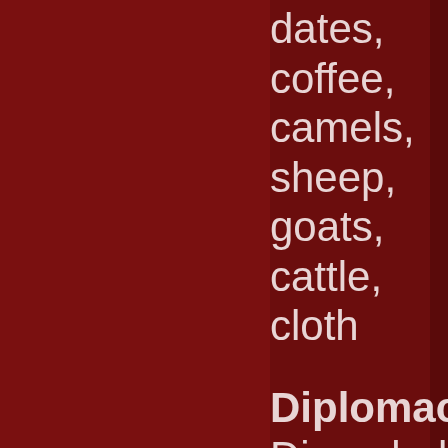dates,
coffee,
camels,
sheep,
goats,
cattle,
cloth
Diplomacy:
Diamabel and his subjects have a